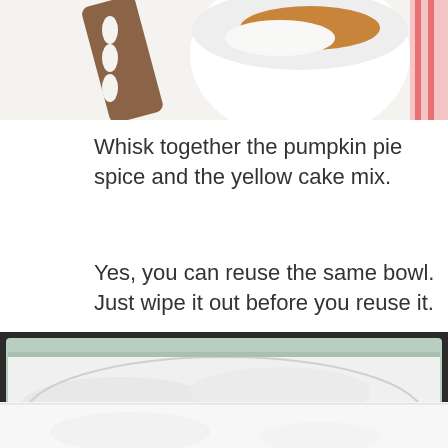[Figure (photo): Top portion of a photo showing a wooden slotted spoon/spatula and a white bowl with brown spices and white powder ingredients on a white surface]
Whisk together the pumpkin pie spice and the yellow cake mix.
Yes, you can reuse the same bowl. Just wipe it out before you reuse it.
[Figure (photo): A baking dish or pan containing white flour/cake mix powder spread evenly, with green dish sides visible, partially cropped]
[Figure (photo): Bottom partial photo showing white utensils or dishes on a light background]